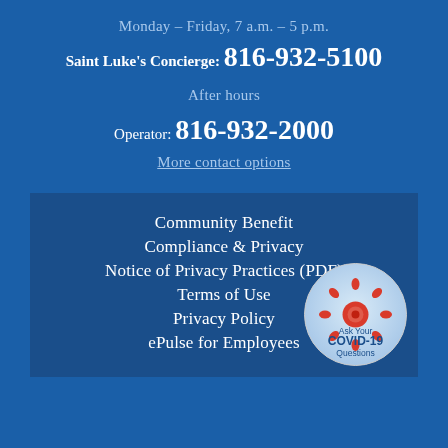Monday – Friday, 7 a.m. – 5 p.m.
Saint Luke's Concierge: 816-932-5100
After hours
Operator: 816-932-2000
More contact options
Community Benefit
Compliance & Privacy
Notice of Privacy Practices (PDF)
Terms of Use
Privacy Policy
ePulse for Employees
[Figure (logo): Ask Your COVID-19 Questions badge with red virus icon on circular white/blue background]